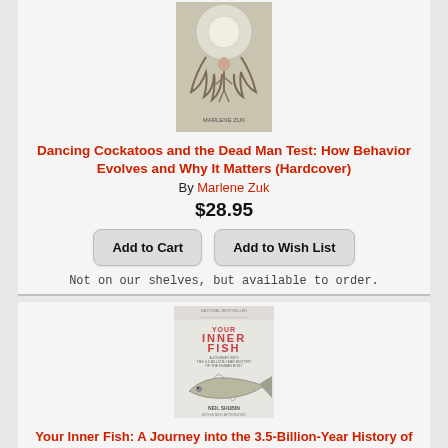[Figure (photo): Book cover of 'Dancing Cockatoos and the Dead Man Test: How Behavior Evolves and Why It Matters' by Marlene Zuk, showing natural history illustration style artwork with animals and a human figure]
Dancing Cockatoos and the Dead Man Test: How Behavior Evolves and Why It Matters (Hardcover)
By Marlene Zuk
$28.95
Add to Cart
Add to Wish List
Not on our shelves, but available to order.
[Figure (photo): Book cover of 'Your Inner Fish: A Journey into the 3.5-Billion-Year History of the Human Body' by Neil Shubin, showing a fish illustration on a light background, National Bestseller label at top]
Your Inner Fish: A Journey into the 3.5-Billion-Year History of the Human Body (Paperback)